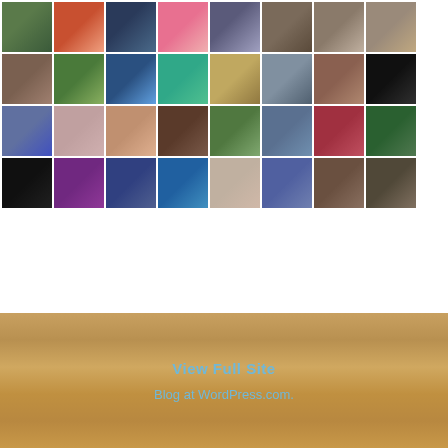[Figure (photo): Grid of user avatars/profile pictures arranged in rows, showing various characters, people, artwork, and icons]
View Full Site
Blog at WordPress.com.